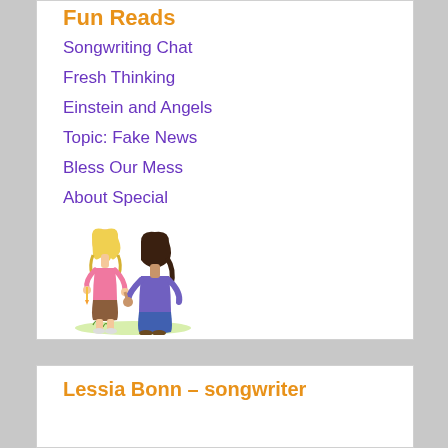Fun Reads
Songwriting Chat
Fresh Thinking
Einstein and Angels
Topic: Fake News
Bless Our Mess
About Special
[Figure (illustration): Cartoon illustration of two girls holding hands — one with blonde hair in pink shirt, one with dark hair in blue/purple top]
Lessia Bonn – songwriter